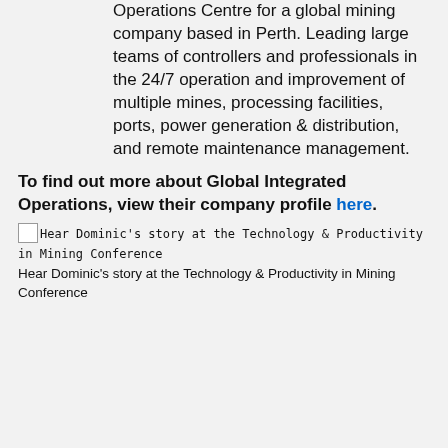Operations Centre for a global mining company based in Perth. Leading large teams of controllers and professionals in the 24/7 operation and improvement of multiple mines, processing facilities, ports, power generation & distribution, and remote maintenance management.
To find out more about Global Integrated Operations, view their company profile here.
[Figure (photo): Image placeholder with alt text: Hear Dominic's story at the Technology & Productivity in Mining Conference]
Hear Dominic's story at the Technology & Productivity in Mining Conference